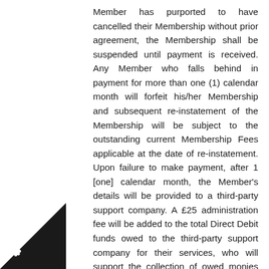Member has purported to have cancelled their Membership without prior agreement, the Membership shall be suspended until payment is received. Any Member who falls behind in payment for more than one (1) calendar month will forfeit his/her Membership and subsequent re-instatement of the Membership will be subject to the outstanding current Membership Fees applicable at the date of re-instatement. Upon failure to make payment, after 1 [one] calendar month, the Member's details will be provided to a third-party support company. A £25 administration fee will be added to the total Direct Debit funds owed to the third-party support company for their services, who will support the collection of owed monies and/or help the Member re-engage with the Company.